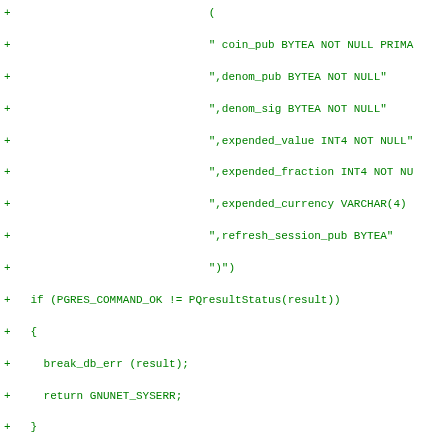[Figure (screenshot): Diff view of C source code showing added lines (prefixed with +) for SQL table creation and PostgreSQL result checking logic, rendered in green monospace font on white background.]